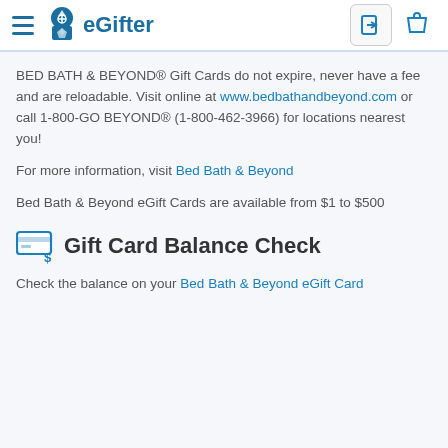eGifter
BED BATH & BEYOND® Gift Cards do not expire, never have a fee and are reloadable. Visit online at www.bedbathandbeyond.com or call 1-800-GO BEYOND® (1-800-462-3966) for locations nearest you!
For more information, visit Bed Bath & Beyond
Bed Bath & Beyond eGift Cards are available from $1 to $500
Gift Card Balance Check
Check the balance on your Bed Bath & Beyond eGift Card